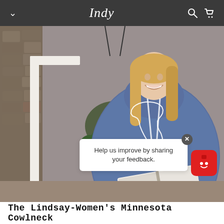Indy
[Figure (photo): A smiling blonde woman wearing a blue heathered cowlneck hoodie with a white outline of the state of Minnesota and the word 'Indy' on the front. She is sitting on a porch holding an open book/magazine. There is a hanging potted plant with ivy visible behind her.]
Help us improve by sharing your feedback.
The Lindsay-Women's Minnesota Cowlneck